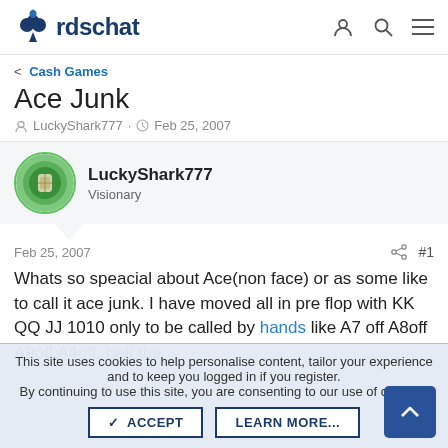cardschat
< Cash Games
Ace Junk
LuckyShark777 · Feb 25, 2007
LuckyShark777
Visionary
Feb 25, 2007  #1
Whats so speacial about Ace(non face) or as some like to call it ace junk. I have moved all in pre flop with KK QQ JJ 1010 only to be called by hands like A7 off A8off A9off A4off, half the
This site uses cookies to help personalise content, tailor your experience and to keep you logged in if you register.
By continuing to use this site, you are consenting to our use of cookies.
ACCEPT   LEARN MORE...